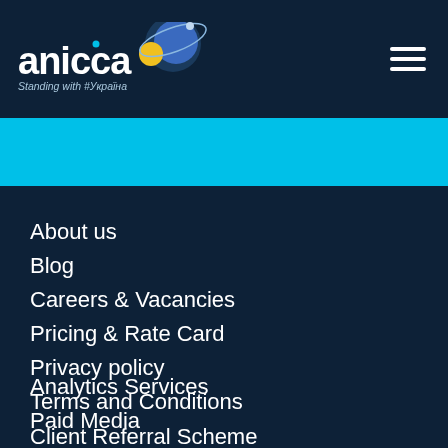[Figure (logo): Anicca logo with planet/orbit graphic, white text on dark navy background. Tagline: Standing with #Україна]
About us
Blog
Careers & Vacancies
Pricing & Rate Card
Privacy policy
Terms and Conditions
Client Referral Scheme
Analytics Services
Paid Media